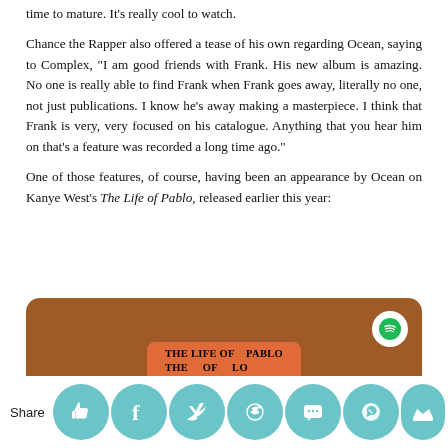time to mature. It's really cool to watch.
Chance the Rapper also offered a tease of his own regarding Ocean, saying to Complex, "I am good friends with Frank. His new album is amazing. No one is really able to find Frank when Frank goes away, literally no one, not just publications. I know he's away making a masterpiece. I think that Frank is very, very focused on his catalogue. Anything that you hear him on that's a feature was recorded a long time ago."
One of those features, of course, having been an appearance by Ocean on Kanye West's The Life of Pablo, released earlier this year:
[Figure (screenshot): Spotify embedded player widget for 'The Life of Pablo' by Kanye West, shown with a brown/tan background, Spotify logo in white circle top-right, and orange label showing 'THE LIFE OF PABLO' text repeated.]